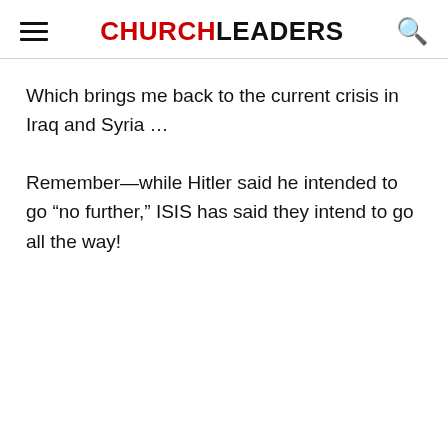CHURCHLEADERS
Which brings me back to the current crisis in Iraq and Syria …
Remember—while Hitler said he intended to go “no further,” ISIS has said they intend to go all the way!